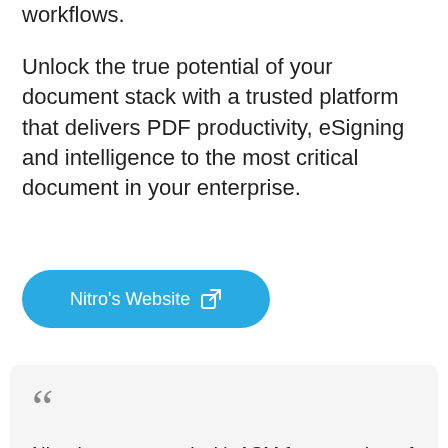workflows.
Unlock the true potential of your document stack with a trusted platform that delivers PDF productivity, eSigning and intelligence to the most critical document in your enterprise.
[Figure (other): Blue rounded button labeled 'Nitro's Website' with an external link icon]
Nitro has partnered with ASM for a number of years. ASM's expertise and relationships within the software industry have been highly beneficial to the Nitro UK